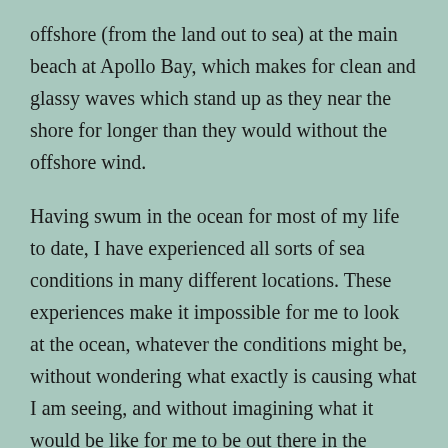offshore (from the land out to sea) at the main beach at Apollo Bay, which makes for clean and glassy waves which stand up as they near the shore for longer than they would without the offshore wind.

Having swum in the ocean for most of my life to date, I have experienced all sorts of sea conditions in many different locations. These experiences make it impossible for me to look at the ocean, whatever the conditions might be, without wondering what exactly is causing what I am seeing, and without imagining what it would be like for me to be out there in the middle of it all. Such ruminations usually end up with me conjuring up some delusional scenario in which I survive the troubled seas against all the odds, and make it ashore unaided and triumphant.